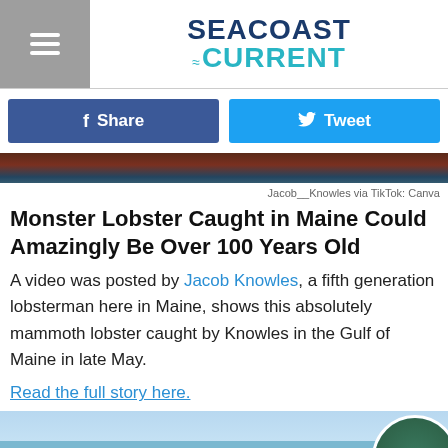SEACOAST CURRENT
Share   Tweet
[Figure (photo): Partial view of a lobster boat or fishing vessel, dark and reddish tones]
Jacob__Knowles via TikTok: Canva
Monster Lobster Caught in Maine Could Amazingly Be Over 100 Years Old
A video was posted by Jacob Knowles, a fifth generation lobsterman here in Maine, shows this absolutely mammoth lobster caught by Knowles in the Gulf of Maine in late May.
Read the full story here.
[Figure (photo): Coastal Maine landscape with water, shoreline trees, and a circular inset image showing a forested island or headland]